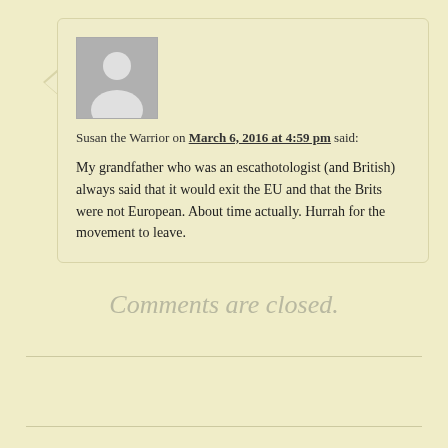[Figure (illustration): Generic user avatar: gray square with white silhouette of a person]
Susan the Warrior on March 6, 2016 at 4:59 pm said:
My grandfather who was an escathotologist (and British) always said that it would exit the EU and that the Brits were not European. About time actually. Hurrah for the movement to leave.
Comments are closed.